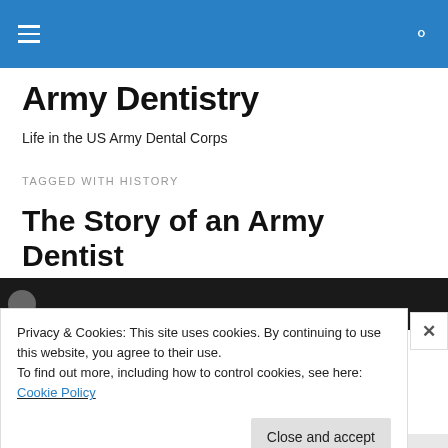Army Dentistry — navigation bar
Army Dentistry
Life in the US Army Dental Corps
TAGGED WITH HISTORY
The Story of an Army Dentist
[Figure (screenshot): Video thumbnail strip showing dark background with a circular avatar placeholder]
Privacy & Cookies: This site uses cookies. By continuing to use this website, you agree to their use.
To find out more, including how to control cookies, see here: Cookie Policy
Close and accept